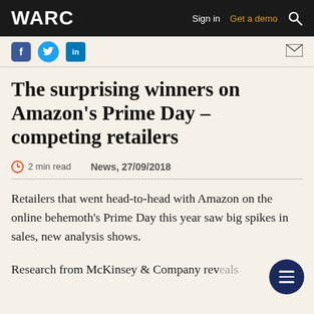WARC | Sign in | Get a demo
[Figure (other): Social sharing icons: Facebook, Twitter, LinkedIn, and email/envelope icon]
The surprising winners on Amazon's Prime Day – competing retailers
2 min read   News, 27/09/2018
Retailers that went head-to-head with Amazon on the online behemoth's Prime Day this year saw big spikes in sales, new analysis shows.
Research from McKinsey & Company rev… that the…